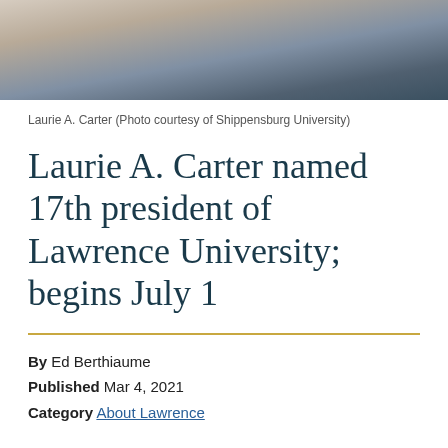[Figure (photo): Cropped photo of Laurie A. Carter, partially visible at top of page]
Laurie A. Carter (Photo courtesy of Shippensburg University)
Laurie A. Carter named 17th president of Lawrence University; begins July 1
By Ed Berthiaume
Published Mar 4, 2021
Category About Lawrence
Laurie A. Carter, a strategic, engaged, and